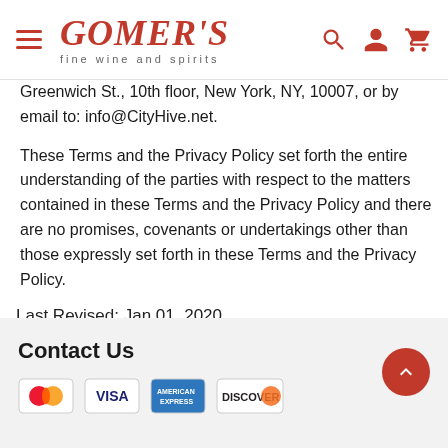GOMER'S fine wine and spirits
Greenwich St., 10th floor, New York, NY, 10007, or by email to: info@CityHive.net.
These Terms and the Privacy Policy set forth the entire understanding of the parties with respect to the matters contained in these Terms and the Privacy Policy and there are no promises, covenants or undertakings other than those expressly set forth in these Terms and the Privacy Policy.
Last Revised: Jan 01, 2020
Contact Us